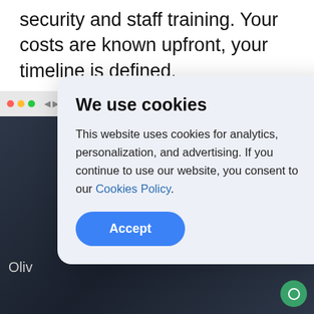security and staff training. Your costs are known upfront, your timeline is defined.
[Figure (screenshot): Browser window screenshot showing a website with a dark background and partial view of a person in a red jacket, partially obscured by a cookie consent modal overlay. An orange chat bubble appears in the lower right of the browser content, and a green chat bubble appears at the very bottom right of the page.]
We use cookies
This website uses cookies for analytics, personalization, and advertising. If you continue to use our website, you consent to our Cookies Policy.
Accept